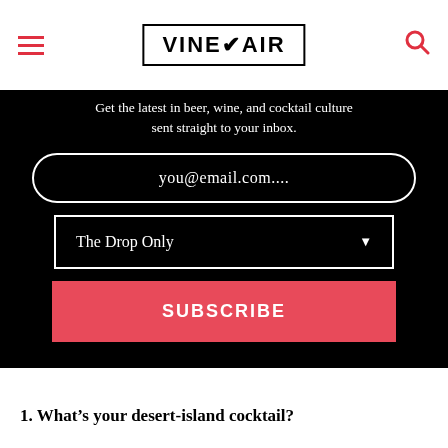VINEPAIR
Get the latest in beer, wine, and cocktail culture sent straight to your inbox.
you@email.com....
The Drop Only
SUBSCRIBE
1. What’s your desert-island cocktail?